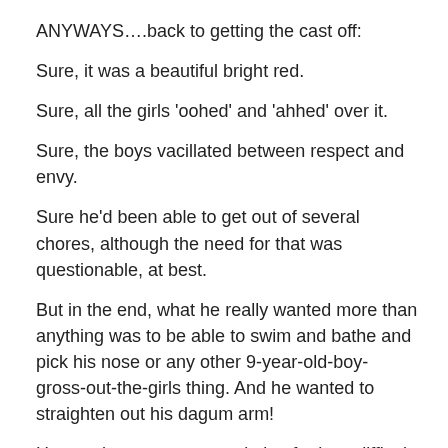ANYWAYS….back to getting the cast off:
Sure, it was a beautiful bright red.
Sure, all the girls 'oohed' and 'ahhed' over it.
Sure, the boys vacillated between respect and envy.
Sure he'd been able to get out of several chores, although the need for that was questionable, at best.
But in the end, what he really wanted more than anything was to be able to swim and bathe and pick his nose or any other 9-year-old-boy-gross-out-the-girls thing.  And he wanted to straighten out his dagum arm!
He now has a new appreciation for how difficult it is to do some things without the dominant hand.  It is something we all take for granted, isn't it?